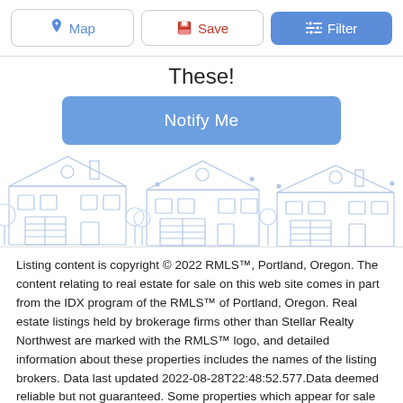[Figure (screenshot): Top navigation bar with three buttons: Map (blue icon), Save (red icon), Filter (blue filled button)]
These!
[Figure (illustration): Light blue outline illustration of suburban houses/homes in a row]
Listing content is copyright © 2022 RMLS™, Portland, Oregon. The content relating to real estate for sale on this web site comes in part from the IDX program of the RMLS™ of Portland, Oregon. Real estate listings held by brokerage firms other than Stellar Realty Northwest are marked with the RMLS™ logo, and detailed information about these properties includes the names of the listing brokers. Data last updated 2022-08-28T22:48:52.577.Data deemed reliable but not guaranteed. Some properties which appear for sale on this web site may subsequently have sold or may no longer be available. IDX information is provided exclusively for consumers' personal, non-commercial use, and may not be used for any purpose other than to identify prospective properties consumers